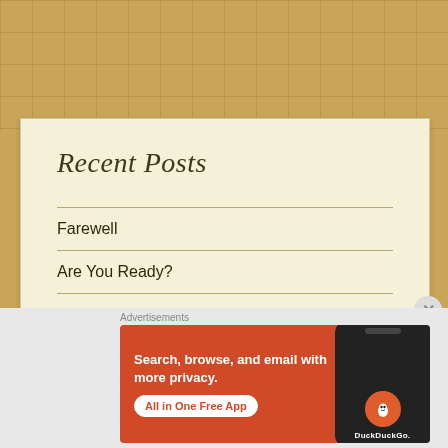Recent Posts
Farewell
Are You Ready?
Affinity
Clean Sweep
Advertisements
[Figure (screenshot): DuckDuckGo advertisement banner: 'Search, browse, and email with more privacy. All in One Free App' with DuckDuckGo logo on a dark phone mockup, orange/red background]